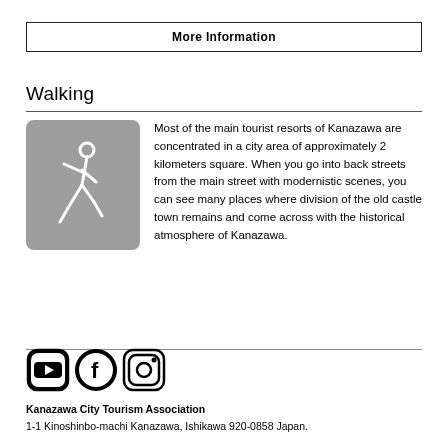More Information
Walking
[Figure (illustration): Gray rounded square icon with a white walking person figure (pedestrian silhouette)]
Most of the main tourist resorts of Kanazawa are concentrated in a city area of approximately 2 kilometers square. When you go into back streets from the main street with modernistic scenes, you can see many places where division of the old castle town remains and come across with the historical atmosphere of Kanazawa.
[Figure (illustration): Social media icons: YouTube, Facebook, Instagram logos in black]
Kanazawa City Tourism Association
1-1 Kinoshinbo-machi Kanazawa, Ishikawa 920-0858 Japan.